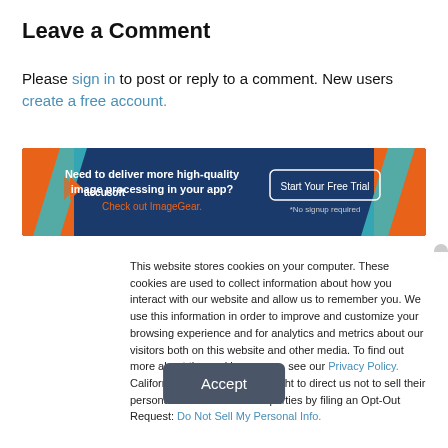Leave a Comment
Please sign in to post or reply to a comment. New users create a free account.
[Figure (photo): Accusoft advertisement banner: dark blue background with orange arrow accents, text 'Need to deliver more high-quality image processing in your app? Check out ImageGear.' with a 'Start Your Free Trial' button and '*No signup required' text.]
This website stores cookies on your computer. These cookies are used to collect information about how you interact with our website and allow us to remember you. We use this information in order to improve and customize your browsing experience and for analytics and metrics about our visitors both on this website and other media. To find out more about the cookies we use, see our Privacy Policy. California residents have the right to direct us not to sell their personal information to third parties by filing an Opt-Out Request: Do Not Sell My Personal Info.
Accept